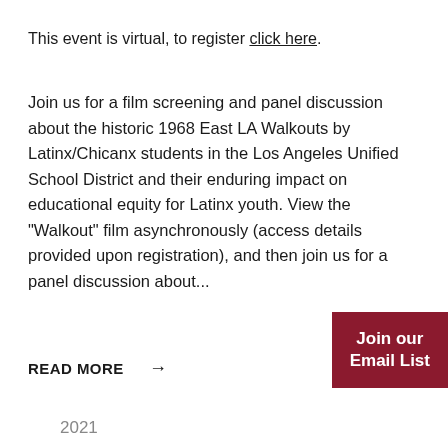This event is virtual, to register click here.
Join us for a film screening and panel discussion about the historic 1968 East LA Walkouts by Latinx/Chicanx students in the Los Angeles Unified School District and their enduring impact on educational equity for Latinx youth. View the "Walkout" film asynchronously (access details provided upon registration), and then join us for a panel discussion about...
READ MORE →
Join our Email List
2021